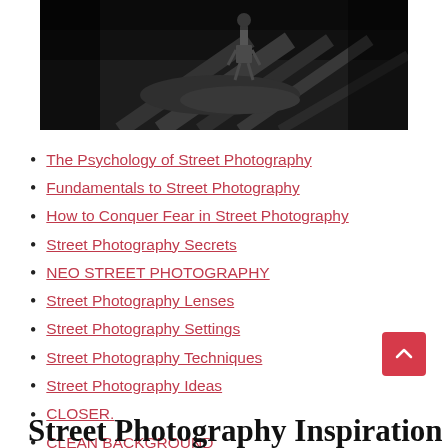[Figure (photo): Black and white street photography image showing a person walking on a wet urban surface with geometric lines and shadows.]
The Psychology of Street Photography
Fundamentals to Street Photography
How to Conquer Fear in Street Photography
Street Photography Secrets
NEO STREET PHOTOGRAPHY
Street Photography Lenses
Street Photography Settings
Street Photography Techniques
Street Photography Ideas
CLOSER.
CLEAN BACKGROUND
Street Photography Inspiration